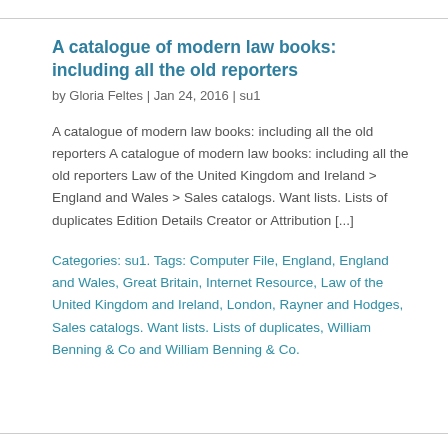A catalogue of modern law books: including all the old reporters
by Gloria Feltes | Jan 24, 2016 | su1
A catalogue of modern law books: including all the old reporters A catalogue of modern law books: including all the old reporters Law of the United Kingdom and Ireland > England and Wales > Sales catalogs. Want lists. Lists of duplicates Edition Details Creator or Attribution [...]
Categories: su1. Tags: Computer File, England, England and Wales, Great Britain, Internet Resource, Law of the United Kingdom and Ireland, London, Rayner and Hodges, Sales catalogs. Want lists. Lists of duplicates, William Benning & Co and William Benning & Co.